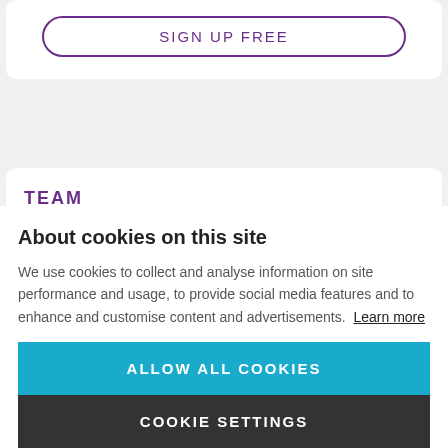[Figure (screenshot): A 'SIGN UP FREE' button with a purple border and purple text, rounded pill shape, on a white card background.]
TEAM
About cookies on this site
We use cookies to collect and analyse information on site performance and usage, to provide social media features and to enhance and customise content and advertisements. Learn more
ALLOW ALL COOKIES
COOKIE SETTINGS